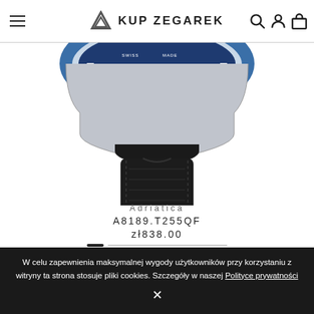KUP ZEGAREK
[Figure (photo): Close-up of a watch showing blue dial with SWISS MADE text and black leather strap cropped from the bottom of the watch case]
Adriatica
A8189.T255QF
zł838.00
W celu zapewnienia maksymalnej wygody użytkowników przy korzystaniu z witryny ta strona stosuje pliki cookies. Szczegóły w naszej Polityce prywatności